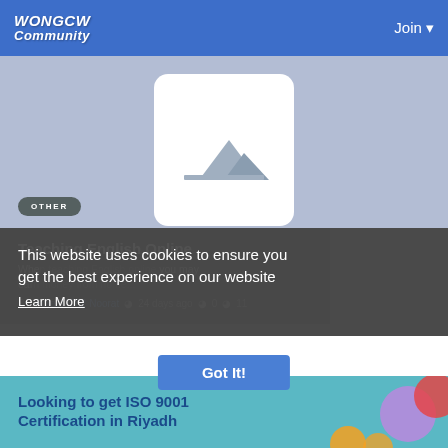WONGCW Community | Join
[Figure (illustration): Image placeholder with mountains icon on a blue-gray background, with an 'OTHER' badge overlay]
Teaching English Online
When teaching English online, you may earn money from home...
By Porat32002 Noorat · 24 days ago · 0 comments · 11 views
This website uses cookies to ensure you get the best experience on our website
Learn More
Got It!
Looking to get ISO 9001 Certification in Riyadh